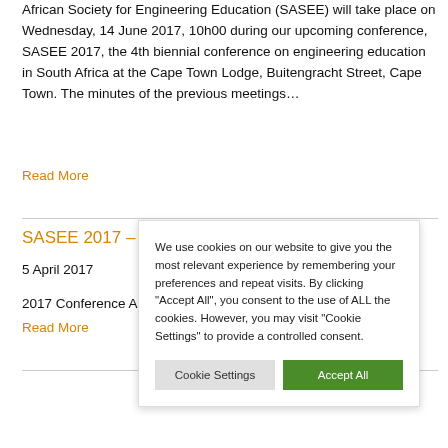African Society for Engineering Education (SASEE) will take place on Wednesday, 14 June 2017, 10h00 during our upcoming conference, SASEE 2017, the 4th biennial conference on engineering education in South Africa at the Cape Town Lodge, Buitengracht Street, Cape Town. The minutes of the previous meetings…
Read More
SASEE 2017 –
5 April 2017
2017 Conference A
Read More
[Figure (screenshot): Cookie consent dialog overlay with text 'We use cookies on our website to give you the most relevant experience by remembering your preferences and repeat visits. By clicking "Accept All", you consent to the use of ALL the cookies. However, you may visit "Cookie Settings" to provide a controlled consent.' and two buttons: 'Cookie Settings' and 'Accept All']